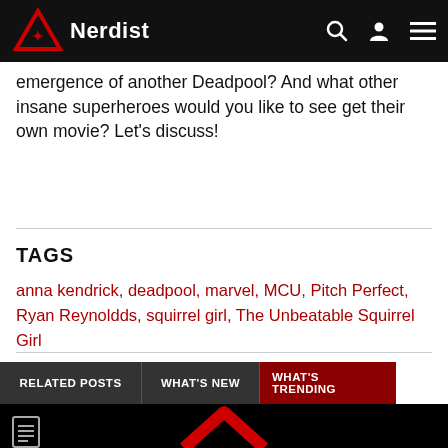Nerdist
emergence of another Deadpool? And what other insane superheroes would you like to see get their own movie? Let's discuss!
TAGS
anna kendrick, deadpool, marvel, MCU, Pitch Perfect, Ryan Reynoldds, squirrel girl, The Unbeatable Squirrel Girl
RELATED POSTS | WHAT'S NEW | WHAT'S TRENDING
[Figure (logo): Nerdist logo chevron on black background at bottom of page]